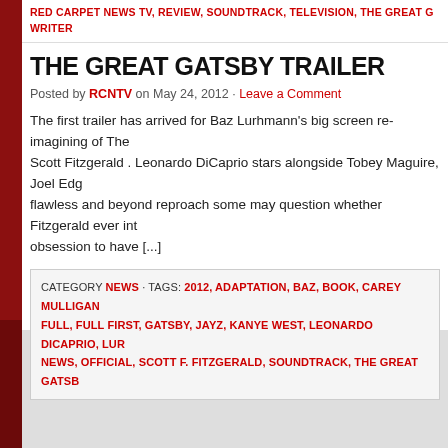RED CARPET NEWS TV, REVIEW, SOUNDTRACK, TELEVISION, THE GREAT G... WRITER
THE GREAT GATSBY TRAILER
Posted by RCNTV on May 24, 2012 · Leave a Comment
The first trailer has arrived for Baz Lurhmann's big screen re-imagining of The... Scott Fitzgerald . Leonardo DiCaprio stars alongside Tobey Maguire, Joel Edg... flawless and beyond reproach some may question whether Fitzgerald ever int... obsession to have [...]
CATEGORY NEWS · TAGS: 2012, ADAPTATION, BAZ, BOOK, CAREY MULLIGAN, FULL, FULL FIRST, GATSBY, JAYZ, KANYE WEST, LEONARDO DICAPRIO, LUR... NEWS, OFFICIAL, SCOTT F. FITZGERALD, SOUNDTRACK, THE GREAT GATSB...